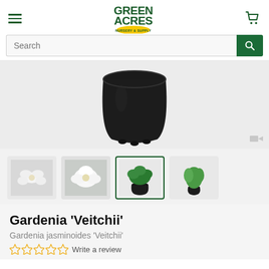[Figure (logo): Green Acres Nursery & Supply logo - green bold text with yellow oval badge]
[Figure (photo): Black plastic nursery pot on white/grey background - main product image]
[Figure (photo): Four thumbnail images: white gardenia flowers, close-up white flower, small plant in black pot (selected/active), small green plant in pot]
Gardenia 'Veitchii'
Gardenia jasminoides 'Veitchii'
Write a review